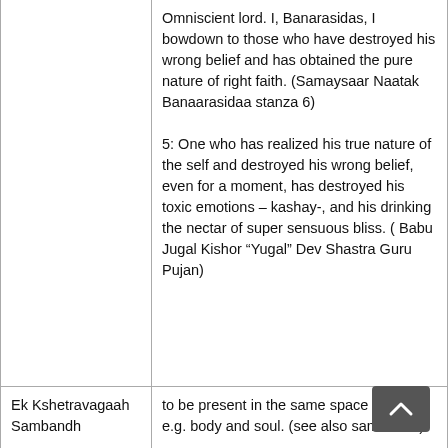| Term | Definition |
| --- | --- |
|  | Omniscient lord. I, Banarasidas, I bowdown to those who have destroyed his wrong belief and has obtained the pure nature of right faith. (Samaysaar Naatak Banaarasidaa stanza 6)
5: One who has realized his true nature of the self and destroyed his wrong belief, even for a moment, has destroyed his toxic emotions – kashay-, and his drinking the nectar of super sensuous bliss. ( Babu Jugal Kishor “Yugal” Dev Shastra Guru Pujan) |
| Ek Kshetravagaah Sambandh | to be present in the same space points e.g. body and soul. (see also sambandh) |